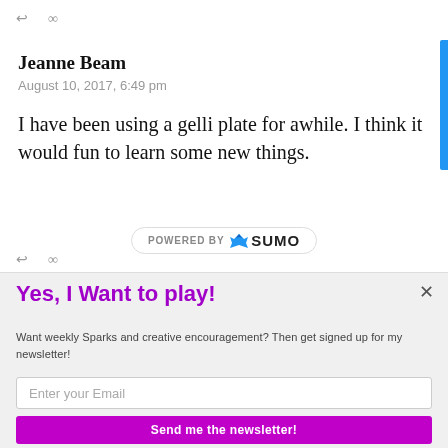↩ ∞
Jeanne Beam
August 10, 2017, 6:49 pm
I have been using a gelli plate for awhile. I think it would fun to learn some new things.
[Figure (logo): POWERED BY SUMO logo badge]
↩ ∞
Yes, I Want to play!
Want weekly Sparks and creative encouragement? Then get signed up for my newsletter!
Enter your Email
Send me the newsletter!
Yes, I would like you to send me a newsletter.